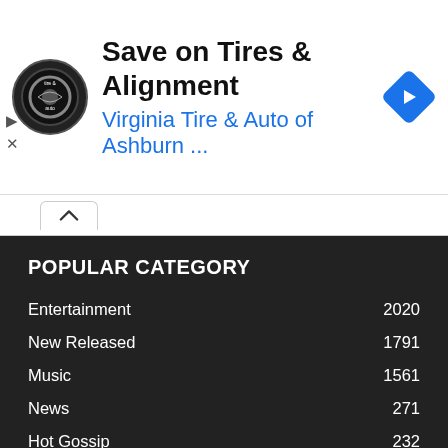[Figure (screenshot): Advertisement banner for Virginia Tire & Auto of Ashburn with circular logo, headline 'Save on Tires & Alignment', subtext 'Virginia Tire & Auto of Ashburn ...', and a blue diamond navigation icon on the right.]
POPULAR CATEGORY
Entertainment   2020
New Released   1791
Music   1561
News   271
Hot Gossip   232
Lifestyle   68
Sports   52
Album/Mixtape Reviews   43
World News   36